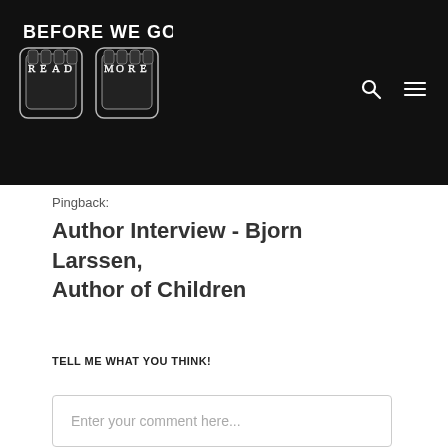[Figure (logo): Before We Go Blog logo with illustrated fists and text 'BEFORE WE GO BLOG READ MORE' on black background with search and menu icons]
Pingback:
Author Interview - Bjorn Larssen, Author of Children
TELL ME WHAT YOU THINK!
Enter your comment here...